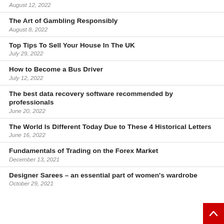August 12, 2022
The Art of Gambling Responsibly
August 8, 2022
Top Tips To Sell Your House In The UK
July 29, 2022
How to Become a Bus Driver
July 12, 2022
The best data recovery software recommended by professionals
June 20, 2022
The World Is Different Today Due to These 4 Historical Letters
June 16, 2022
Fundamentals of Trading on the Forex Market
December 13, 2021
Designer Sarees – an essential part of women's wardrobe
October 29, 2021